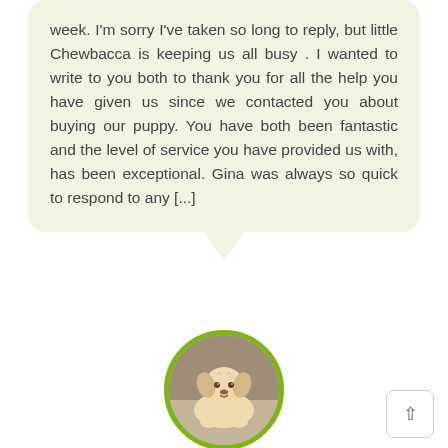week. I'm sorry I've taken so long to reply, but little Chewbacca is keeping us all busy . I wanted to write to you both to thank you for all the help you have given us since we contacted you about buying our puppy. You have both been fantastic and the level of service you have provided us with, has been exceptional. Gina was always so quick to respond to any [...]
[Figure (photo): Circular profile photo of a fluffy light-colored puppy lying on a carpet, framed with a green circular border]
Lisa Marshall
Zug, Switzerland